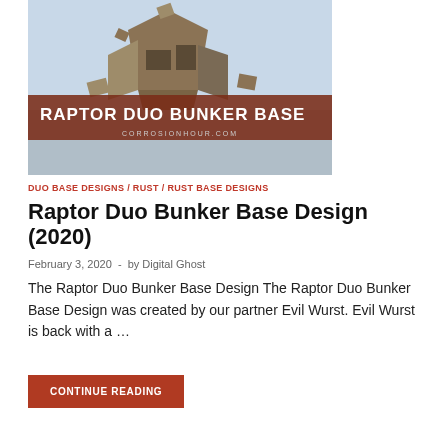[Figure (photo): Hero image of the Raptor Duo Bunker Base Design with title overlay 'RAPTOR DUO BUNKER BASE' and website 'CORROSIONHOUR.COM' on a brownish-red banner]
DUO BASE DESIGNS / RUST / RUST BASE DESIGNS
Raptor Duo Bunker Base Design (2020)
February 3, 2020  -  by Digital Ghost
The Raptor Duo Bunker Base Design The Raptor Duo Bunker Base Design was created by our partner Evil Wurst. Evil Wurst is back with a …
CONTINUE READING